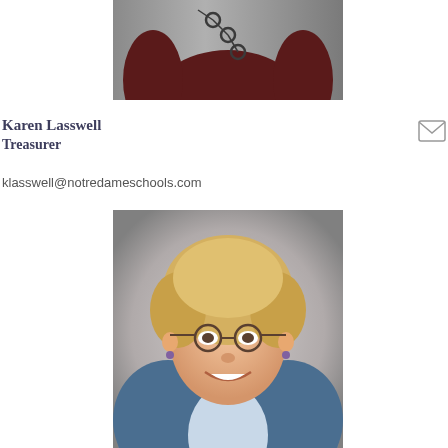[Figure (photo): Cropped photo of a person in a dark maroon top with a chain necklace, grey background, only torso visible]
Karen Lasswell
Treasurer
klasswell@notredameschools.com
[Figure (photo): Portrait photo of an older woman with short blonde hair, glasses, smiling, wearing a denim jacket over a light blue striped shirt, grey background]